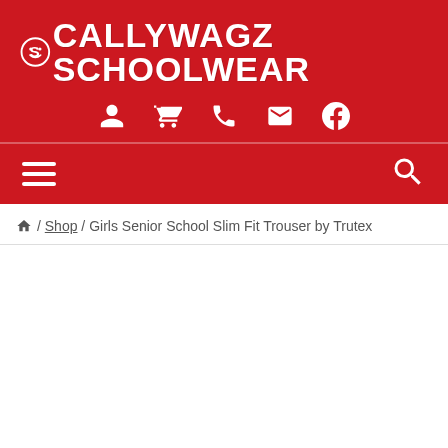SCALLYWAGZ SCHOOLWEAR
/ Shop / Girls Senior School Slim Fit Trouser by Trutex